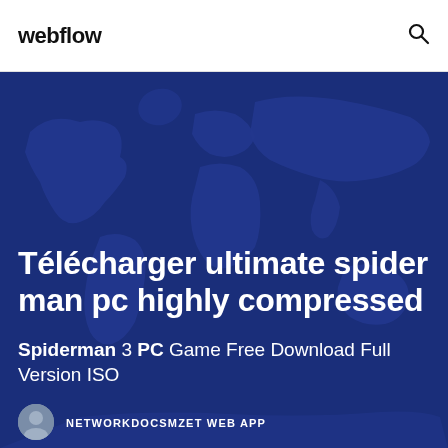webflow
Télécharger ultimate spider man pc highly compressed
Spiderman 3 PC Game Free Download Full Version ISO
NETWORKDOCSMZET WEB APP